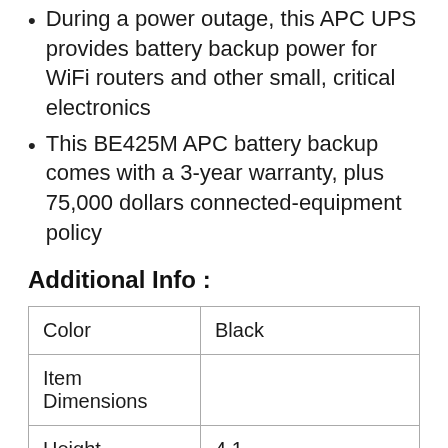During a power outage, this APC UPS provides battery backup power for WiFi routers and other small, critical electronics
This BE425M APC battery backup comes with a 3-year warranty, plus 75,000 dollars connected-equipment policy
Additional Info :
| Color | Black |
| Item Dimensions |  |
| Height | 4.1 |